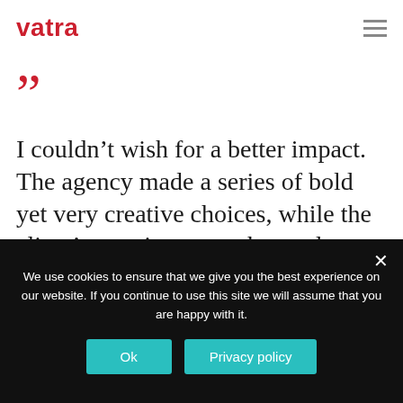vatra
“”
I couldn’t wish for a better impact. The agency made a series of bold yet very creative choices, while the client’s reactions went beyond our expectations. This collaboration enabled us to differentiate ourselves from the competition. Kudos to the VATRA
We use cookies to ensure that we give you the best experience on our website. If you continue to use this site we will assume that you are happy with it.
Ok   Privacy policy